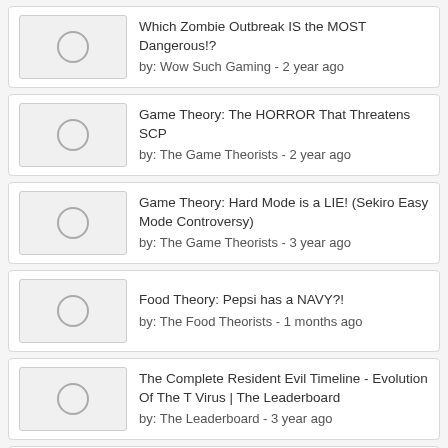Which Zombie Outbreak IS the MOST Dangerous!?
by: Wow Such Gaming - 2 year ago
Game Theory: The HORROR That Threatens SCP
by: The Game Theorists - 2 year ago
Game Theory: Hard Mode is a LIE! (Sekiro Easy Mode Controversy)
by: The Game Theorists - 3 year ago
Food Theory: Pepsi has a NAVY?!
by: The Food Theorists - 1 months ago
The Complete Resident Evil Timeline - Evolution Of The T Virus | The Leaderboard
by: The Leaderboard - 3 year ago
Game Theory: Bowser's LOST Child...Yoshi!
by: The Game Theorists - 3 months ago